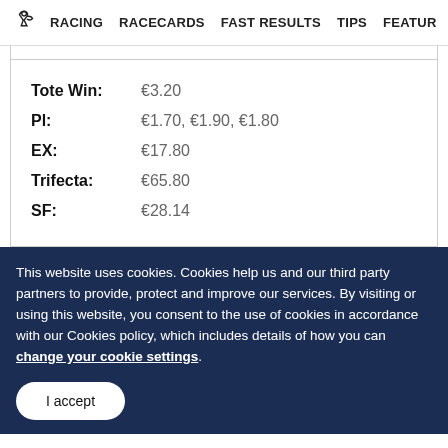RACING  RACECARDS  FAST RESULTS  TIPS  FEATURE
| Tote Win: | €3.20 |
| Pl: | €1.70, €1.90, €1.80 |
| EX: | €17.80 |
| Trifecta: | €65.80 |
| SF: | €28.14 |
This website uses cookies. Cookies help us and our third party partners to provide, protect and improve our services. By visiting or using this website, you consent to the use of cookies in accordance with our Cookies policy, which includes details of how you can change your cookie settings.
I accept